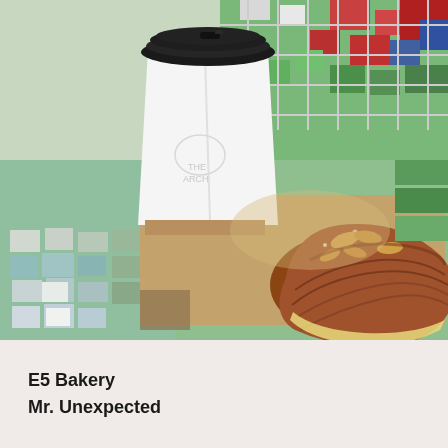[Figure (photo): Outdoor photo of a white takeaway coffee cup with a black lid alongside an almond croissant on brown parchment paper, placed on a colorful mosaic tiled surface with red, green, teal, white, and blue tiles.]
E5 Bakery
Mr. Unexpected